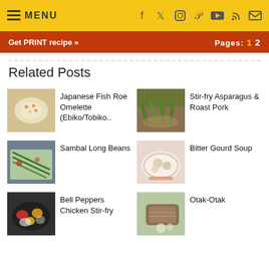MENU
Get PRINT recipe »   Pages: 1  2
Related Posts
Japanese Fish Roe Omelette (Ebiko/Tobiko..
Stir-fry Asparagus & Roast Pork
Sambal Long Beans
Bitter Gourd Soup
Bell Peppers Chicken Stir-fry
Otak-Otak